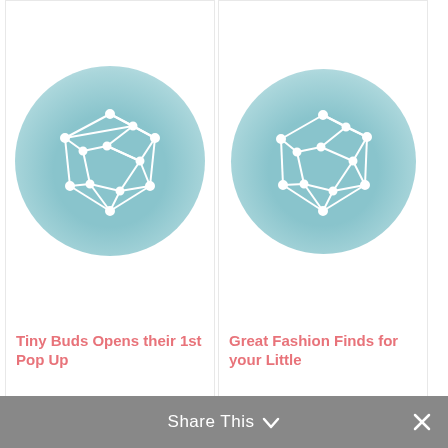[Figure (illustration): Network/mesh sphere icon on teal circular background, placeholder image for article]
Tiny Buds Opens their 1st Pop Up
[Figure (illustration): Network/mesh sphere icon on teal circular background, placeholder image for article]
Great Fashion Finds for your Little
[Figure (illustration): Network/mesh sphere icon on teal circular background, placeholder image for article]
Baby Shower Invitation Maker
[Figure (illustration): Network/mesh sphere icon on teal circular background, placeholder image for article]
[Tupperware Brands PH] Baby
Share This ∨ ×